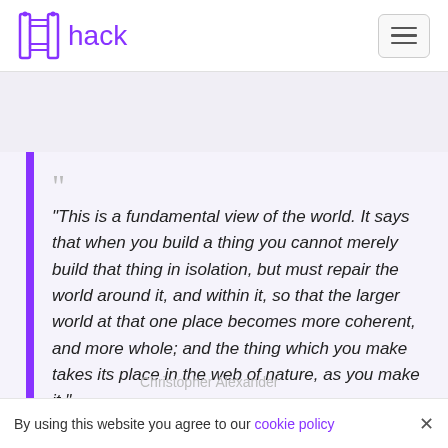hack
“This is a fundamental view of the world. It says that when you build a thing you cannot merely build that thing in isolation, but must repair the world around it, and within it, so that the larger world at that one place becomes more coherent, and more whole; and the thing which you make takes its place in the web of nature, as you make it.”
Christopher Alexander
By using this website you agree to our cookie policy